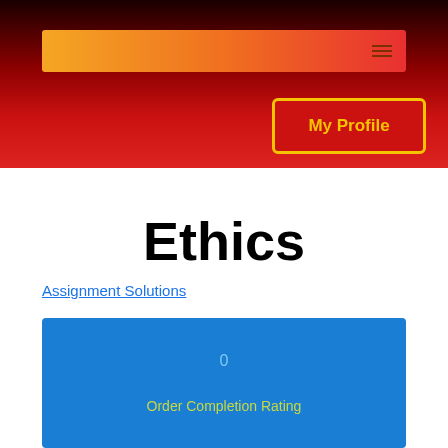Navigation bar with hamburger menu icon
[Figure (screenshot): My Profile button with yellow border on red background]
Ethics
Assignment Solutions
[Figure (infographic): Blue card showing Order Completion Rating with value 0]